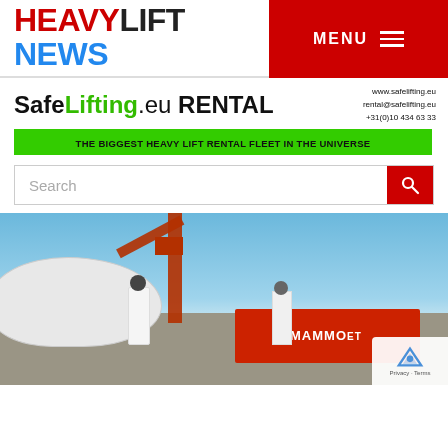[Figure (logo): HeavyLift News logo with HEAVY in red bold, LIFT in black bold, NEWS in blue bold on white background, alongside red MENU bar with hamburger icon]
[Figure (infographic): SafeLifting.eu RENTAL advertisement banner with green Lifting text, contact info www.safelifting.eu, rental@safelifting.eu, +31(0)10 434 63 33, and green bar reading THE BIGGEST HEAVY LIFT RENTAL FLEET IN THE UNIVERSE]
[Figure (screenshot): Search bar with placeholder text Search and red search button with magnifying glass icon]
[Figure (photo): Photo of a heavy lift job site with a large white wrapped object (possibly a vessel or tank), a red crawler crane, two workers in safety vests and hard hats, and a red Mammoet transport vehicle in the background under a blue sky]